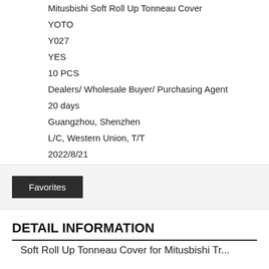Mitusbishi Soft Roll Up Tonneau Cover
YOTO
Y027
YES
10 PCS
Dealers/ Wholesale Buyer/ Purchasing Agent
20 days
Guangzhou, Shenzhen
L/C, Western Union, T/T
2022/8/21
Favorites
DETAIL INFORMATION
Soft Roll Up Tonneau Cover for Mitusbishi Tr...